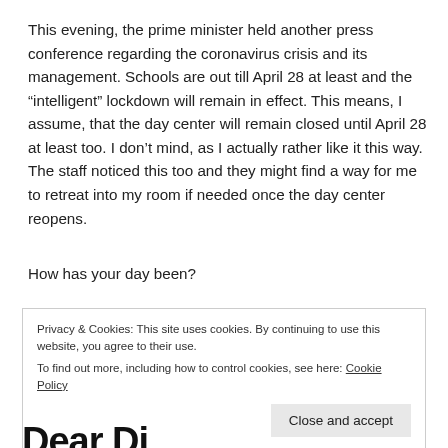This evening, the prime minister held another press conference regarding the coronavirus crisis and its management. Schools are out till April 28 at least and the “intelligent” lockdown will remain in effect. This means, I assume, that the day center will remain closed until April 28 at least too. I don’t mind, as I actually rather like it this way. The staff noticed this too and they might find a way for me to retreat into my room if needed once the day center reopens.
How has your day been?
Privacy & Cookies: This site uses cookies. By continuing to use this website, you agree to their use.
To find out more, including how to control cookies, see here: Cookie Policy
Close and accept
Dear Diary 2021